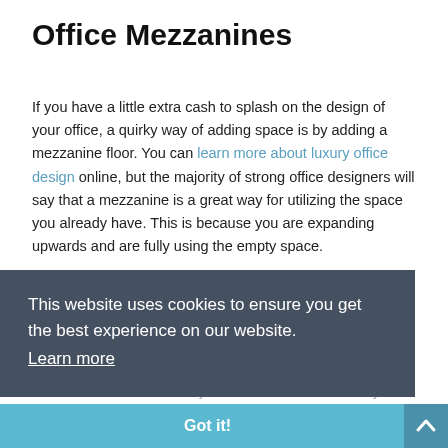Office Mezzanines
If you have a little extra cash to splash on the design of your office, a quirky way of adding space is by adding a mezzanine floor. You can learn more about luxury office design online, but the majority of strong office designers will say that a mezzanine is a great way for utilizing the space you already have. This is because you are expanding upwards and are fully using the empty space.
Not only do mezzanine floors look amazing, but they give you a great way of incorporating more desk space or creating private meeting areas, or even break rooms. These sort of additions to your office can be extremely cost-effective and most do not even require planning permission due to their size.
This website uses cookies to ensure you get the best experience on our website.
Learn more
Got it!